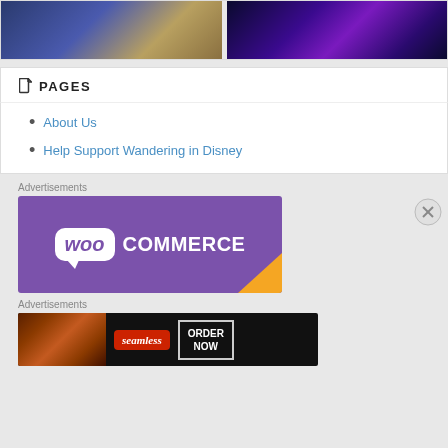[Figure (photo): Two photos side by side: left shows a person in blue clothing with bokeh lights, right shows a purple-lit fountain display at night]
PAGES
About Us
Help Support Wandering in Disney
Advertisements
[Figure (logo): WooCommerce advertisement banner with purple background and white WooCommerce logo with chat bubble icon, orange corner element]
Advertisements
[Figure (photo): Seamless food delivery advertisement showing pizza on dark background with Seamless logo and ORDER NOW button]